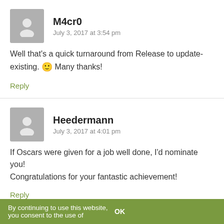M4cr0
July 3, 2017 at 3:54 pm
Well that's a quick turnaround from Release to update-existing. 🙂 Many thanks!
Reply
Heedermann
July 3, 2017 at 4:01 pm
If Oscars were given for a job well done, I'd nominate you!
Congratulations for your fantastic achievement!
Reply
By continuing to use this website, you consent to the use of    OK